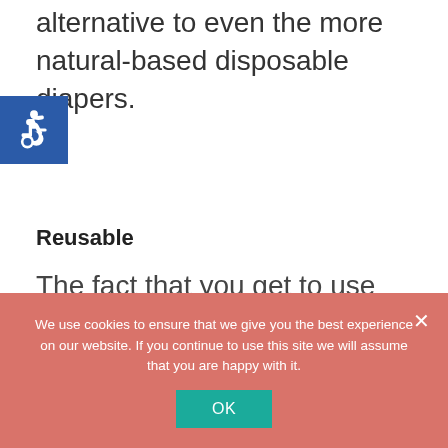alternative to even the more natural-based disposable diapers.
[Figure (illustration): Blue accessibility wheelchair icon on blue square background]
Reusable
The fact that you get to use and use that diaper over and over again.
We use cookies to ensure that we give you the best experience on our website. If you continue to use this site we will assume that you are happy with it.